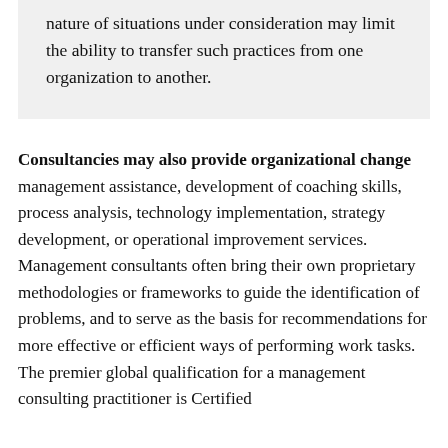nature of situations under consideration may limit the ability to transfer such practices from one organization to another.
Consultancies may also provide organizational change management assistance, development of coaching skills, process analysis, technology implementation, strategy development, or operational improvement services. Management consultants often bring their own proprietary methodologies or frameworks to guide the identification of problems, and to serve as the basis for recommendations for more effective or efficient ways of performing work tasks. The premier global qualification for a management consulting practitioner is Certified